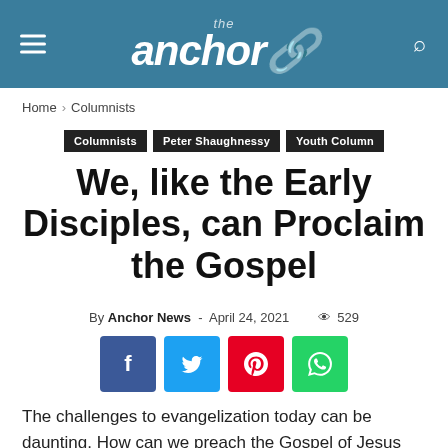the anchor
Home › Columnists
Columnists  Peter Shaughnessy  Youth Column
We, like the Early Disciples, can Proclaim the Gospel
By Anchor News - April 24, 2021  529
The challenges to evangelization today can be daunting. How can we preach the Gospel of Jesus Christ and draw people into, or back into, to the Church today? Secularism is a